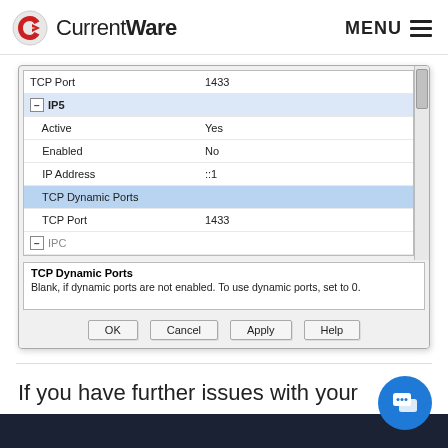CurrentWare | MENU
[Figure (screenshot): Windows SQL Server configuration dialog showing TCP/IP properties. Rows visible: TCP Port 1433, IP5 group (Active: Yes, Enabled: No, IP Address: ::1, TCP Dynamic Ports, TCP Port: 1433), partial IPC row. Description panel shows: TCP Dynamic Ports - Blank, if dynamic ports are not enabled. To use dynamic ports, set to 0. Buttons: OK, Cancel, Apply, Help.]
If you have further issues with your CurrentWare Solutions, contact our technical support team.